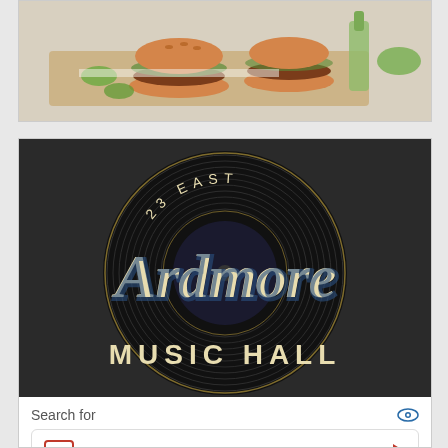[Figure (photo): Food photo showing burgers/sandwiches with green herbs on a wooden board, with a bottle in the background]
[Figure (logo): Ardmore Music Hall logo: black vinyl record with '23 EAST' arced at top, 'Ardmore' in large cream cursive script, 'MUSIC HALL' in cream block letters at bottom]
Search for
1  UPCOMING CONCERTS 2022
2  BUY CONCERT TICKETS
Yahoo! Search | Sponsored